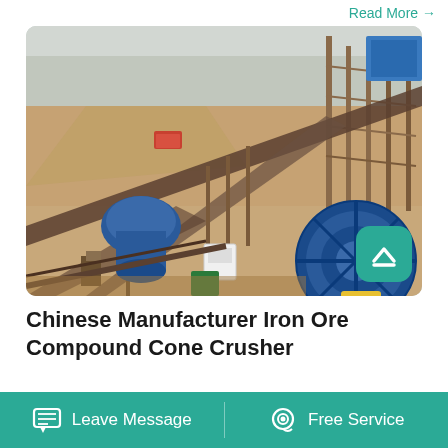Read More →
[Figure (photo): Aerial view of a Chinese iron ore processing facility with conveyor belts, crushers, and heavy industrial equipment including a large blue wheel washer and cone crushers]
Chinese Manufacturer Iron Ore Compound Cone Crusher
Leave Message    Free Service